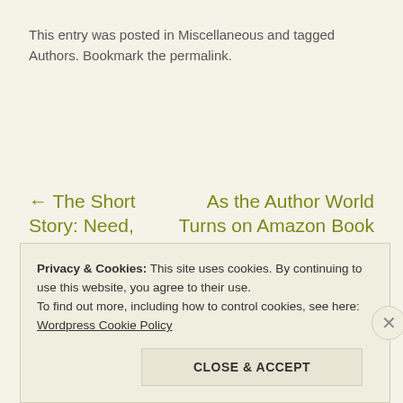This entry was posted in Miscellaneous and tagged Authors. Bookmark the permalink.
← The Short Story: Need, Limits, and Theme #amwritng
As the Author World Turns on Amazon Book Review Policies – From the Book Designer Blog →
Privacy & Cookies: This site uses cookies. By continuing to use this website, you agree to their use.
To find out more, including how to control cookies, see here:
Wordpress Cookie Policy
CLOSE & ACCEPT